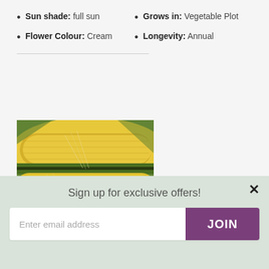Sun shade: full sun
Grows in: Vegetable Plot
Flower Colour: Cream
Longevity: Annual
[Figure (photo): Close-up photograph of ears of yellow corn/sweetcorn with green husk]
Sign up for exclusive offers!
Enter email address
JOIN